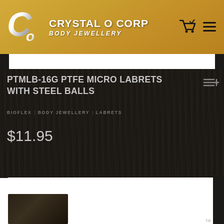CRYSTAL O CORP BODY JEWELLERY
PTMLB-16G PTFE MICRO LABRETS WITH STEEL BALLS
BIOFLEX  BODY JEWELLERY  LABRETS
$11.95
[Figure (photo): Product image area (white background with partial product photo)]